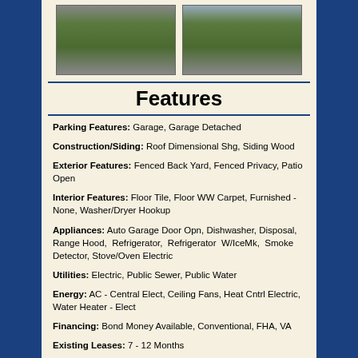[Figure (photo): Two photos of a fenced backyard with grass, wood fencing visible]
Features
Parking Features: Garage, Garage Detached
Construction/Siding: Roof Dimensional Shg, Siding Wood
Exterior Features: Fenced Back Yard, Fenced Privacy, Patio Open
Interior Features: Floor Tile, Floor WW Carpet, Furnished - None, Washer/Dryer Hookup
Appliances: Auto Garage Door Opn, Dishwasher, Disposal, Range Hood, Refrigerator, Refrigerator W/IceMk, Smoke Detector, Stove/Oven Electric
Utilities: Electric, Public Sewer, Public Water
Energy: AC - Central Elect, Ceiling Fans, Heat Cntrl Electric, Water Heater - Elect
Financing: Bond Money Available, Conventional, FHA, VA
Existing Leases: 7 - 12 Months
Lot/Parcel Access: City Road, Paved Road